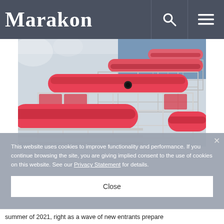Marakon
[Figure (photo): Close-up photo of red shopping cart handles lined up in a row, showing metallic wire baskets and red plastic grip handles]
This website uses cookies to improve functionality and performance. If you continue browsing the site, you are giving implied consent to the use of cookies on this website. See our Privacy Statement for details.
Close
summer of 2021, right as a wave of new entrants prepare